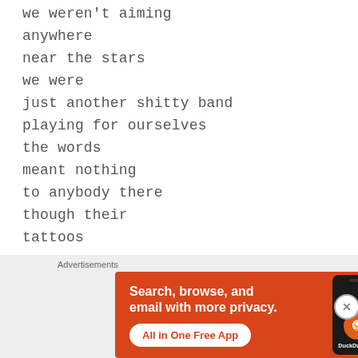we weren't aiming
anywhere
near the stars
we were
just another shitty band
playing for ourselves
the words
meant nothing
to anybody there
though their
tattoos
[Figure (screenshot): DuckDuckGo advertisement banner with orange background. Text reads 'Search, browse, and email with more privacy. All in One Free App' with a phone mockup showing the DuckDuckGo logo.]
Advertisements